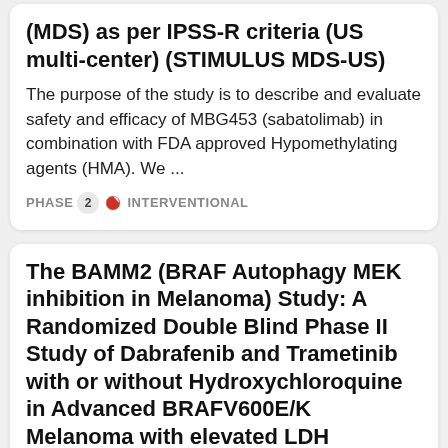(MDS) as per IPSS-R criteria (US multi-center) (STIMULUS MDS-US)
The purpose of the study is to describe and evaluate safety and efficacy of MBG453 (sabatolimab) in combination with FDA approved Hypomethylating agents (HMA). We ...
PHASE 2 INTERVENTIONAL
The BAMM2 (BRAF Autophagy MEK inhibition in Melanoma) Study: A Randomized Double Blind Phase II Study of Dabrafenib and Trametinib with or without Hydroxychloroquine in Advanced BRAFV600E/K Melanoma with elevated LDH
Hydroxychloroquine inhibits a process called autophagy which helps tumors survive. The